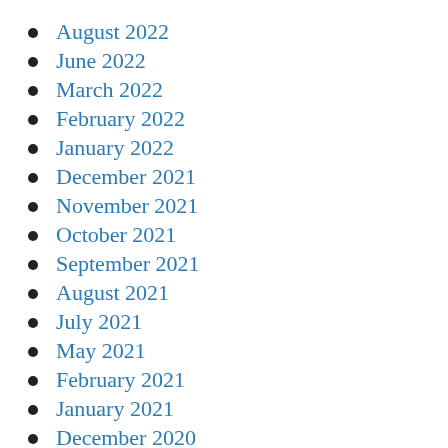August 2022
June 2022
March 2022
February 2022
January 2022
December 2021
November 2021
October 2021
September 2021
August 2021
July 2021
May 2021
February 2021
January 2021
December 2020